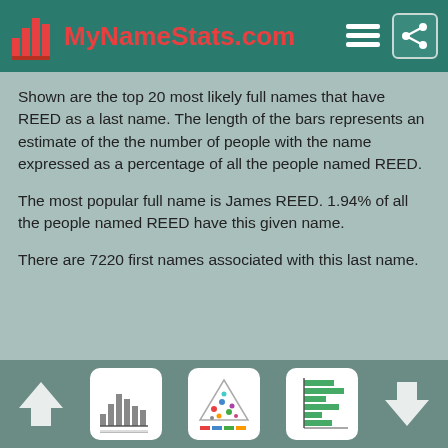MyNameStats.com
Shown are the top 20 most likely full names that have REED as a last name. The length of the bars represents an estimate of the the number of people with the name expressed as a percentage of all the people named REED.
The most popular full name is James REED. 1.94% of all the people named REED have this given name.
There are 7220 first names associated with this last name.
Navigation bar with prev/next arrows and thumbnail icons